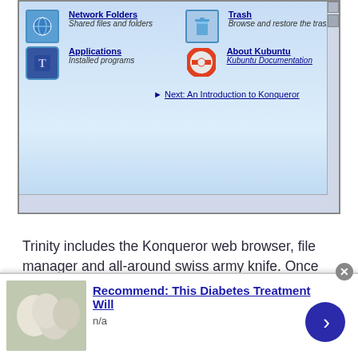[Figure (screenshot): Screenshot of Kubuntu desktop welcome/help page showing Network Folders, Trash, Applications, and About Kubuntu icons with links and a 'Next: An Introduction to Konqueror' link at the bottom.]
Trinity includes the Konqueror web browser, file manager and all-around swiss army knife. Once upon a time, it was both KDE's default web browser and file manager.
Konqueror sports a tabbed interface. Each tab can contain a web page, file browser or one of Konqueror's embeddable components, such as an image viewer.
[Figure (screenshot): Advertisement banner: 'Recommend: This Diabetes Treatment Will' with a food image on left, 'n/a' text, and a blue arrow button on the right. Has a close (x) button at top right.]